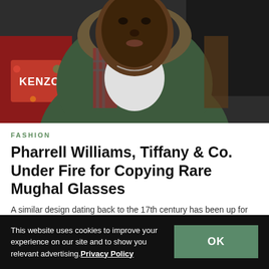[Figure (photo): Photo of a young Black man wearing a green parka jacket with fur-trimmed hood over a plaid shirt and white graphic tee, with a Kenzo pillow visible in the background]
FASHION
Pharrell Williams, Tiffany & Co. Under Fire for Copying Rare Mughal Glasses
A similar design dating back to the 17th century has been up for auction via Sotheby's.
By YeEun Kim   Jan 24, 2022   🔥 5.6K
This website uses cookies to improve your experience on our site and to show you relevant advertising. Privacy Policy   OK